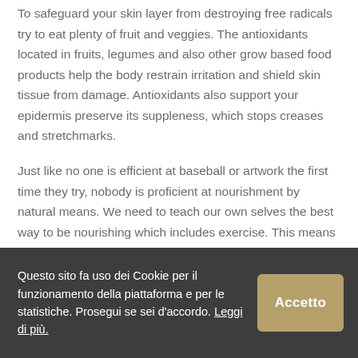To safeguard your skin layer from destroying free radicals try to eat plenty of fruit and veggies. The antioxidants located in fruits, legumes and also other grow based food products help the body restrain irritation and shield skin tissue from damage. Antioxidants also support your epidermis preserve its suppleness, which stops creases and stretchmarks.
Just like no one is efficient at baseball or artwork the first time they try, nobody is proficient at nourishment by natural means. We need to teach our own selves the best way to be nourishing which includes exercise. This means you need to start understanding many innovative skills in your own life.
Don't allow the most recent fads influence you you are doing points because...
Questo sito fa uso dei Cookie per il funzionamento della piattaforma e per le statistiche. Prosegui se sei d'accordo. Leggi di più.